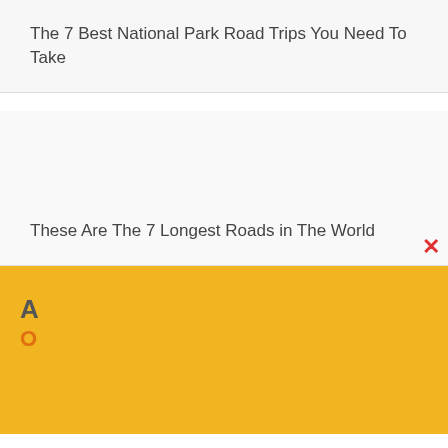The 7 Best National Park Road Trips You Need To Take
These Are The 7 Longest Roads in The World
[Figure (screenshot): Yellow/gold overlay banner with close (X) button in red, partially visible text starting with 'A' and 'O' in orange on yellow background]